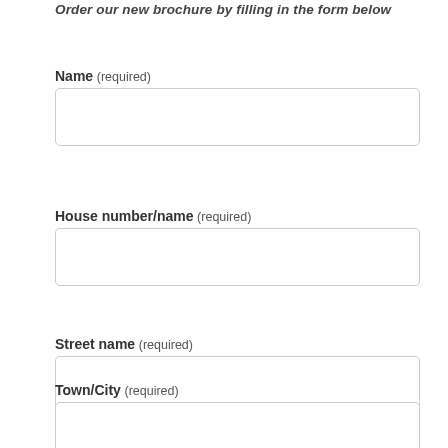Order our new brochure by filling in the form below
Name (required)
House number/name (required)
Street name (required)
Town/City (required)